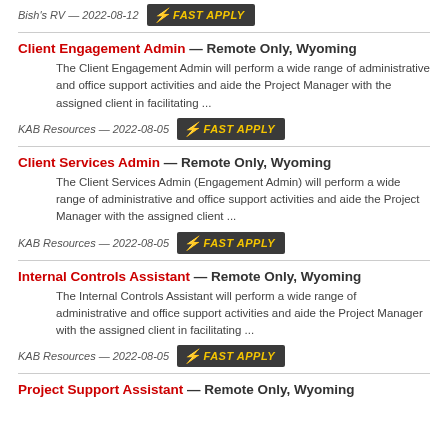Bish's RV — 2022-08-12  FAST APPLY
Client Engagement Admin — Remote Only, Wyoming
The Client Engagement Admin will perform a wide range of administrative and office support activities and aide the Project Manager with the assigned client in facilitating ...
KAB Resources — 2022-08-05  FAST APPLY
Client Services Admin — Remote Only, Wyoming
The Client Services Admin (Engagement Admin) will perform a wide range of administrative and office support activities and aide the Project Manager with the assigned client ...
KAB Resources — 2022-08-05  FAST APPLY
Internal Controls Assistant — Remote Only, Wyoming
The Internal Controls Assistant will perform a wide range of administrative and office support activities and aide the Project Manager with the assigned client in facilitating ...
KAB Resources — 2022-08-05  FAST APPLY
Project Support Assistant — Remote Only, Wyoming